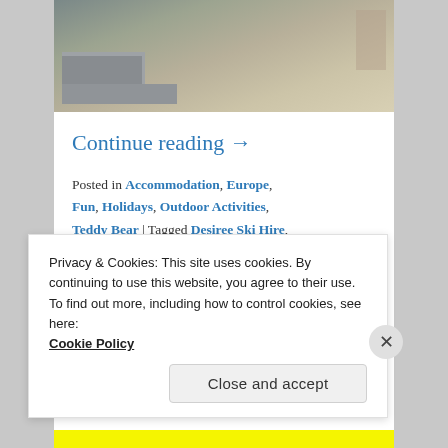[Figure (photo): Outdoor photo showing stone steps and wooden structure, partial view of building entrance area]
Continue reading →
Posted in Accommodation, Europe, Fun, Holidays, Outdoor Activities, Teddy Bear | Tagged Desiree Ski Hire, Hotel Regina, Skiing | Leave a reply
Privacy & Cookies: This site uses cookies. By continuing to use this website, you agree to their use.
To find out more, including how to control cookies, see here:
Cookie Policy
Close and accept